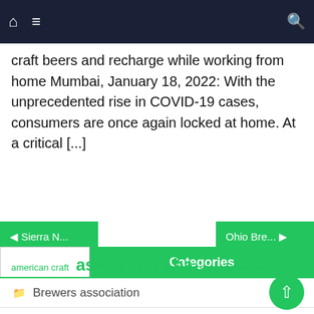Navigation bar with home, menu, and search icons
craft beers and recharge while working from home Mumbai, January 18, 2022: With the unprecedented rise in COVID-19 cases, consumers are once again locked at home. At a critical [...]
◀ Sierra N...
Ohio Bre... ▶
Categories
Brewers association
Brewing company
Online brewery
american craft  association ba  association brewers